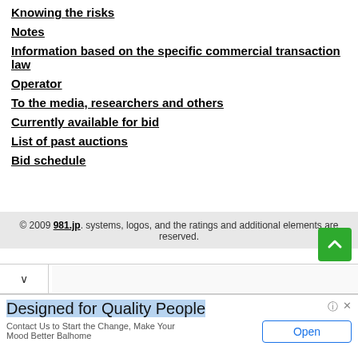Knowing the risks
Notes
Information based on the specific commercial transaction law
Operator
To the media, researchers and others
Currently available for bid
List of past auctions
Bid schedule
© 2009 981.jp. systems, logos, and the ratings and additional elements are reserved.
Designed for Quality People
Contact Us to Start the Change, Make Your Mood Better Balhome